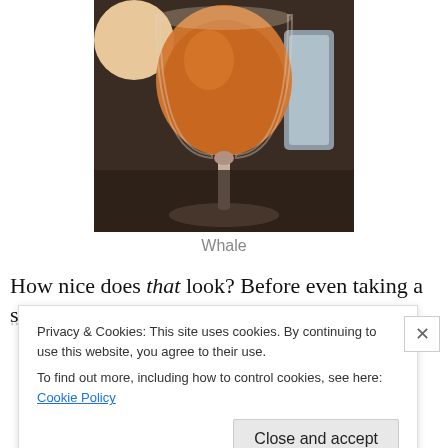[Figure (photo): A tulip-shaped beer glass filled with amber/orange craft beer, sitting on a dark bar surface with other glassware in the background.]
Whale
How nice does that look? Before even taking a sip, I
Privacy & Cookies: This site uses cookies. By continuing to use this website, you agree to their use.
To find out more, including how to control cookies, see here: Cookie Policy
Close and accept